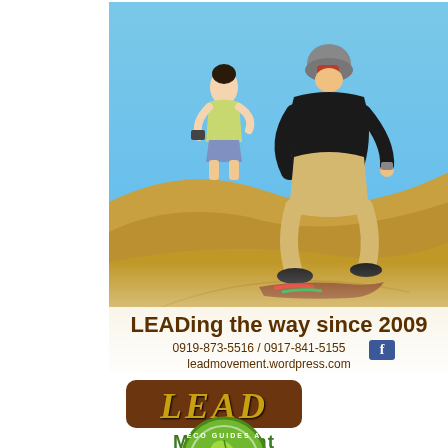[Figure (photo): Sandboarding action photo: a person in a black shirt and helmet crouching on a sandboard sliding down a sand dune, with another person standing in the background against a blue sky. Overlaid text at bottom: 'LEADing the way since 2009', '0919-873-5516 / 0917-841-5155', Facebook icon, 'leadmovement.wordpress.com']
LEADing the way since 2009
0919-873-5516 / 0917-841-5155
leadmovement.wordpress.com
[Figure (logo): LEAD Movement logo: brown rounded rectangle containing stylized 'LEAD' text in gold/yellow on dark brown background, with 'Movement' written below in green bold text]
[Figure (logo): Eco Guides Association circular badge/seal in green, partially visible at bottom of page]